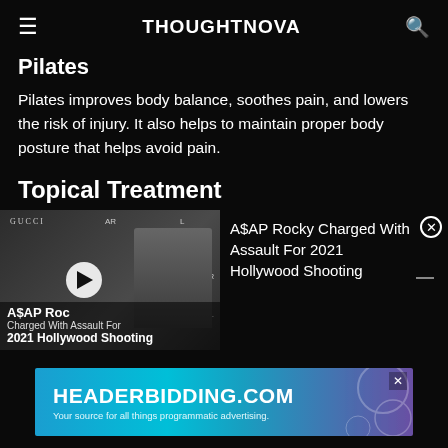THOUGHTNOVA
Pilates
Pilates improves body balance, soothes pain, and lowers the risk of injury. It also helps to maintain proper body posture that helps avoid pain.
Topical Treatment
[Figure (screenshot): Video thumbnail showing A$AP Rocky charged with assault for 2021 Hollywood Shooting, with Gucci event branding and a play button overlay]
A$AP Rocky Charged With Assault For 2021 Hollywood Shooting
[Figure (screenshot): Advertisement banner for HEADERBIDDING.COM — Your source for all things programmatic advertising.]